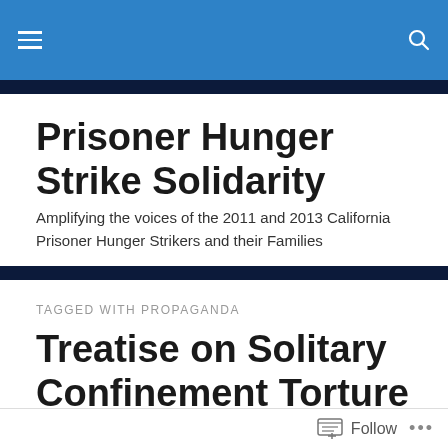Prisoner Hunger Strike Solidarity — site header navigation
Prisoner Hunger Strike Solidarity
Amplifying the voices of the 2011 and 2013 California Prisoner Hunger Strikers and their Families
TAGGED WITH PROPAGANDA
Treatise on Solitary Confinement Torture and Call To Action, Todd Ashker, March 31, 2015